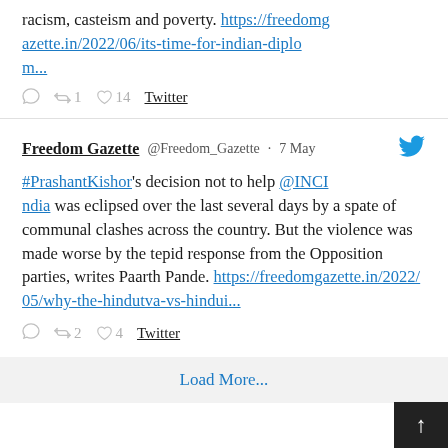racism, casteism and poverty. https://freedomgazette.in/2022/06/its-time-for-indian-diplom...
reply 0  retweet 1  like 14  Twitter
Freedom Gazette @Freedom_Gazette · 7 May
#PrashantKishor's decision not to help @INCIndia was eclipsed over the last several days by a spate of communal clashes across the country. But the violence was made worse by the tepid response from the Opposition parties, writes Paarth Pande. https://freedomgazette.in/2022/05/why-the-hindutva-vs-hindui...
reply 0  retweet 2  like 4  Twitter
Load More...